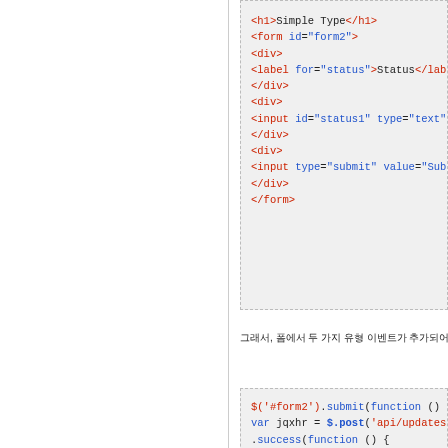[Figure (screenshot): HTML code block showing a simple form with h1, form#form2, divs, label, input status1, and submit input]
그래서, 폼에서 두 가지 유형 이벤트가 추가되어 사용자가 기다리게합니다. 이제 스크린리더 사용자 경험을 살펴 보
[Figure (screenshot): JavaScript code block showing $('#form2').submit(function () { var jqxhr = $.post('api/updates/simple'). .success(function () { var loc = jqxhr.getResponseHeade... var a = $('<a/>',  { href: loc, text:... $('#message').html(a);]